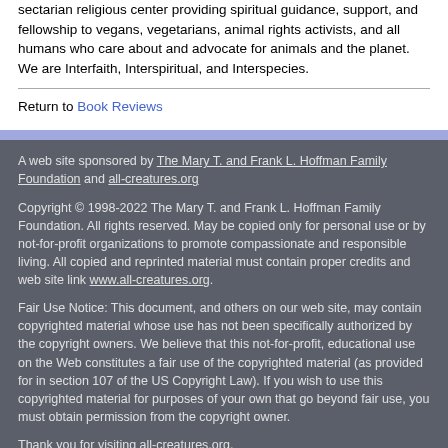sectarian religious center providing spiritual guidance, support, and fellowship to vegans, vegetarians, animal rights activists, and all humans who care about and advocate for animals and the planet. We are Interfaith, Interspiritual, and Interspecies.
Return to Book Reviews
A web site sponsored by The Mary T. and Frank L. Hoffman Family Foundation and all-creatures.org
Copyright © 1998-2022 The Mary T. and Frank L. Hoffman Family Foundation. All rights reserved. May be copied only for personal use or by not-for-profit organizations to promote compassionate and responsible living. All copied and reprinted material must contain proper credits and web site link www.all-creatures.org.
Fair Use Notice: This document, and others on our web site, may contain copyrighted material whose use has not been specifically authorized by the copyright owners. We believe that this not-for-profit, educational use on the Web constitutes a fair use of the copyrighted material (as provided for in section 107 of the US Copyright Law). If you wish to use this copyrighted material for purposes of your own that go beyond fair use, you must obtain permission from the copyright owner.
Thank you for visiting all-creatures.org.